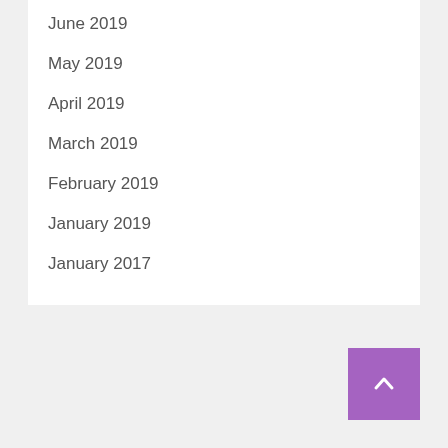June 2019
May 2019
April 2019
March 2019
February 2019
January 2019
January 2017
[Figure (other): Purple back-to-top button with upward chevron arrow in bottom right corner]